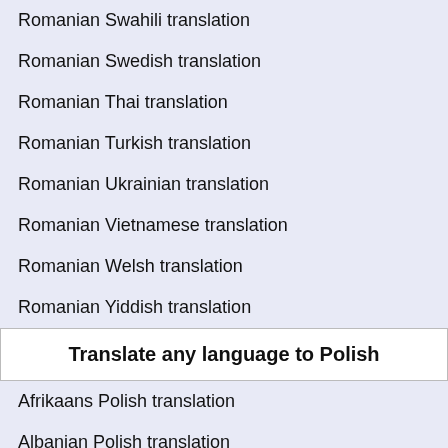Romanian Swahili translation
Romanian Swedish translation
Romanian Thai translation
Romanian Turkish translation
Romanian Ukrainian translation
Romanian Vietnamese translation
Romanian Welsh translation
Romanian Yiddish translation
Translate any language to Polish
Afrikaans Polish translation
Albanian Polish translation
Arabic Polish translation
Belarusian Polish translation
Bulgarian Polish translation